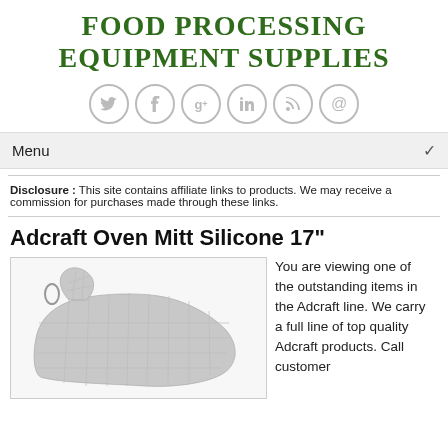Food Processing Equipment Supplies
[Figure (infographic): Six social media icons in circles: Twitter, Facebook, Google+, LinkedIn, RSS, Email]
Menu
Disclosure : This site contains affiliate links to products. We may receive a commission for purchases made through these links.
Adcraft Oven Mitt Silicone 17"
[Figure (photo): Photo of an Adcraft silicone oven mitt, light gray, quilted texture, 17 inches long]
You are viewing one of the outstanding items in the Adcraft line. We carry a full line of top quality Adcraft products. Call customer